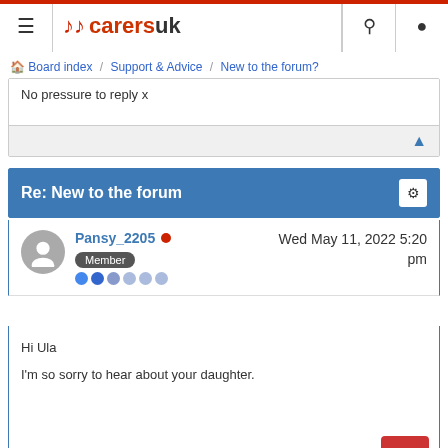Carers UK — site header with navigation, search, and user icons
Board index / Support & Advice / New to the forum?
No pressure to reply x
Re: New to the forum
Pansy_2205 • Wed May 11, 2022 5:20 pm — Member
Hi Ula

I'm so sorry to hear about your daughter.